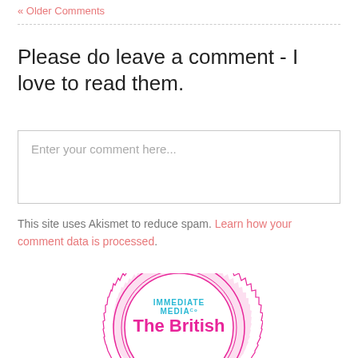« Older Comments
Please do leave a comment - I love to read them.
Enter your comment here...
This site uses Akismet to reduce spam. Learn how your comment data is processed.
[Figure (logo): Immediate Media Co - The British Craft Awards badge/logo, pink circular badge with zigzag border]